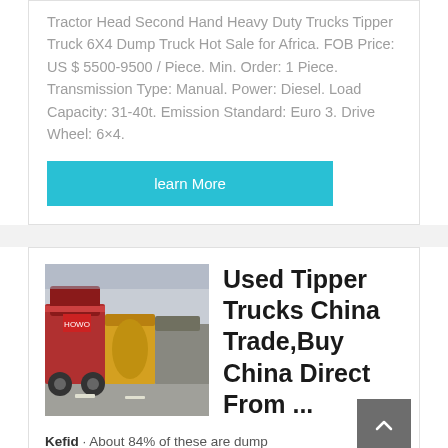Tractor Head Second Hand Heavy Duty Trucks Tipper Truck 6X4 Dump Truck Hot Sale for Africa. FOB Price: US $ 5500-9500 / Piece. Min. Order: 1 Piece. Transmission Type: Manual. Power: Diesel. Load Capacity: 31-40t. Emission Standard: Euro 3. Drive Wheel: 6×4.
learn More
Used Tipper Trucks China Trade,Buy China Direct From ...
[Figure (photo): Photo of used tipper trucks / heavy duty trucks parked in a lot, viewed from behind, showing red and orange trucks]
Kefid · About 84% of these are dump